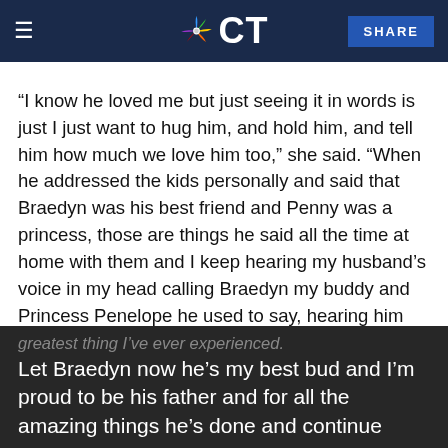NBC CT — SHARE
“I know he loved me but just seeing it in words is just I just want to hug him, and hold him, and tell him how much we love him too,” she said. “When he addressed the kids personally and said that Braedyn was his best friend and Penny was a princess, those are things he said all the time at home with them and I keep hearing my husband’s voice in my head calling Braedyn my buddy and Princess Penelope he used to say, hearing him write those words I hear him saying it and I’ll never hear him say it out loud again.”
[Figure (screenshot): Dark screenshot overlay showing partial text: 'greatest thing I’ve ever experienced. Let Braedyn now he’s my best bud and I’m proud to be his father and for all the amazing things he’s done and continue...']